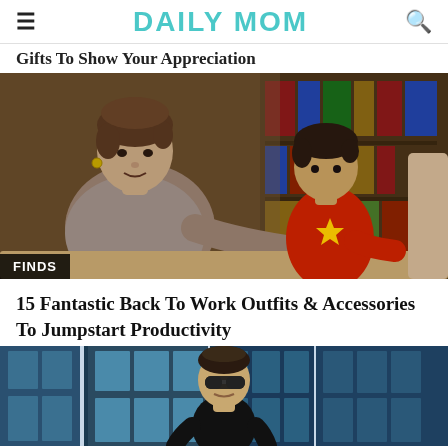DAILY MOM
Gifts To Show Your Appreciation
[Figure (photo): Woman helping a young boy in a library setting, bookshelves in background. FINDS badge in bottom left corner.]
15 Fantastic Back To Work Outfits & Accessories To Jumpstart Productivity
[Figure (photo): Woman in black outfit standing outside a modern glass building, wearing sunglasses.]